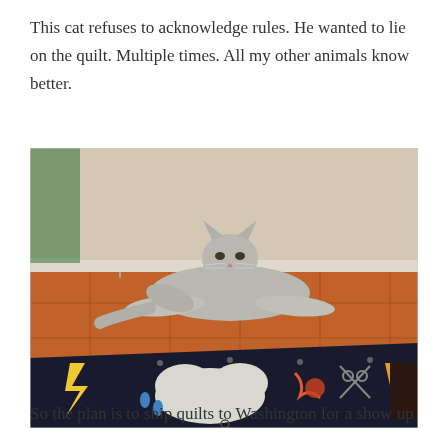This cat refuses to acknowledge rules. He wanted to lie on the quilt. Multiple times. All my other animals know better.
[Figure (photo): A grey tabby cat lying on orange/terracotta floor tiles, looking directly at the camera with an unimpressed expression. In the foreground, a dark quilt with appliqued designs (white cloud shape, orange and red shapes, scissors) is spread on the floor. In the background there is a wall with a baseboard and a curtain visible on the left.]
So the plan is to ship quilts to Washington for a show up